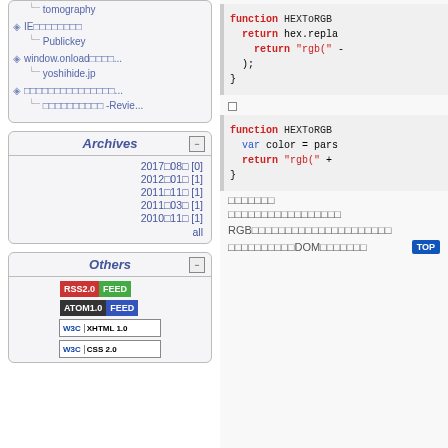tomography
IE□□□□□□□□ / Publickey
window.onload□□□□... / yoshihide.jp
□□□□□□□□□□□□□□□... / □□□□□□□□□□ -Revie...
Archives
2017□08□ [0]
2012□01□ [1]
2011□11□ [1]
2011□03□ [1]
2010□11□ [1]
all
Others
[Figure (other): RSS2.0 FEED badge, ATOM1.0 FEED badge, W3C XHTML 1.0 badge, W3C CSS badge]
[Figure (screenshot): Code block showing function HEXToRGB with return hex.replace and return rgb( -)]
□
[Figure (screenshot): Code block showing function HEXToRGB with var color = pars and return rgb( +]
□□□□□□□
□□□□□□□□□□□□□□□□□
RGB□□□□□□□□□□□□□□□□□□□□□
□□□□□□□□□□DOM□□□□□□□